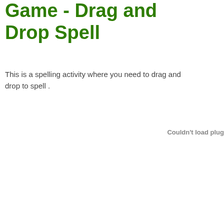Game - Drag and Drop Spell
This is a spelling activity where you need to drag and drop to spell .
Couldn't load plug